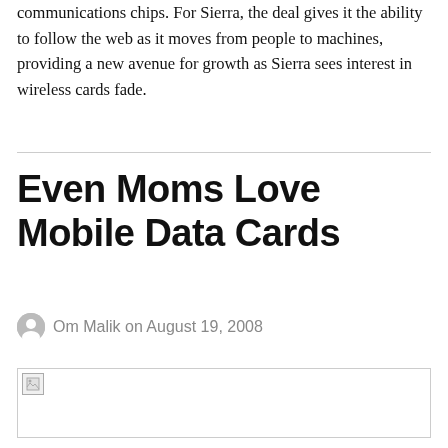communications chips. For Sierra, the deal gives it the ability to follow the web as it moves from people to machines, providing a new avenue for growth as Sierra sees interest in wireless cards fade.
Even Moms Love Mobile Data Cards
Om Malik on August 19, 2008
[Figure (photo): Broken image placeholder at the bottom of the article]